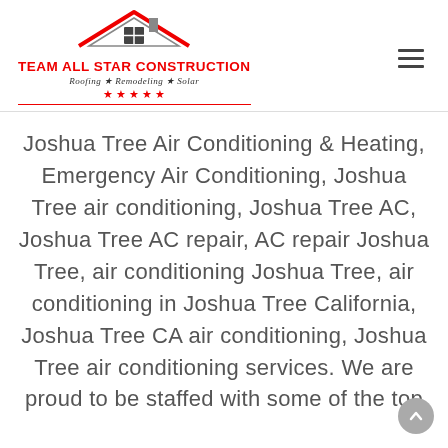[Figure (logo): Team All Star Construction logo with house roof icon, company name in red, tagline 'Roofing ★ Remodeling ★ Solar', five red stars, red underline]
Joshua Tree Air Conditioning & Heating, Emergency Air Conditioning, Joshua Tree air conditioning, Joshua Tree AC, Joshua Tree AC repair, AC repair Joshua Tree, air conditioning Joshua Tree, air conditioning in Joshua Tree California, Joshua Tree CA air conditioning, Joshua Tree air conditioning services. We are proud to be staffed with some of the top